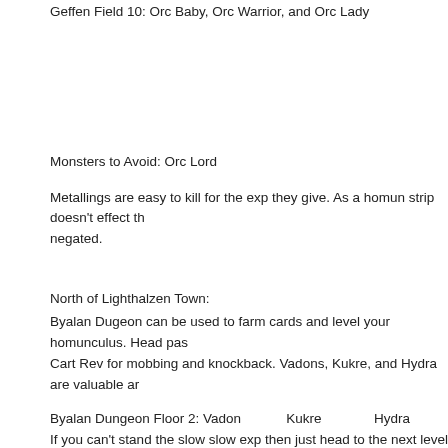Geffen Field 10: Orc Baby, Orc Warrior, and Orc Lady
Monsters to Avoid: Orc Lord
Metallings are easy to kill for the exp they give. As a homun strip doesn't effect th... negated.
North of Lighthalzen Town:
Byalan Dugeon can be used to farm cards and level your homunculus. Head pas... Cart Rev for mobbing and knockback. Vadons, Kukre, and Hydra are valuable ar...
Byalan Dungeon Floor 2: Vadon    Kukre    Hydra
If you can't stand the slow slow exp then just head to the next level and kill the O...